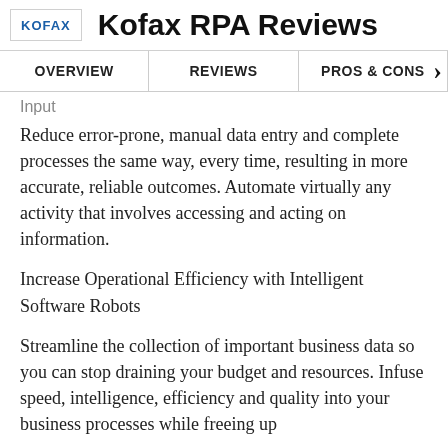Kofax RPA Reviews
OVERVIEW   REVIEWS   PROS & CONS
Input
Reduce error-prone, manual data entry and complete processes the same way, every time, resulting in more accurate, reliable outcomes. Automate virtually any activity that involves accessing and acting on information.
Increase Operational Efficiency with Intelligent Software Robots
Streamline the collection of important business data so you can stop draining your budget and resources. Infuse speed, intelligence, efficiency and quality into your business processes while freeing up